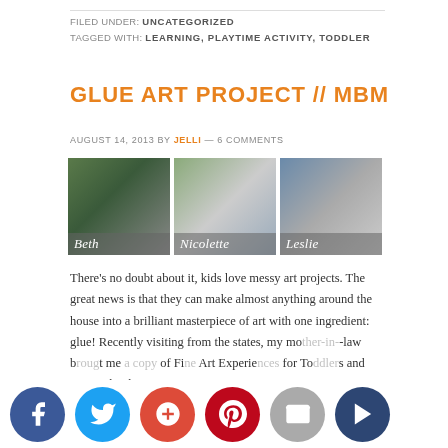FILED UNDER: UNCATEGORIZED
TAGGED WITH: LEARNING, PLAYTIME ACTIVITY, TODDLER
GLUE ART PROJECT // MBM
AUGUST 14, 2013 BY JELLI — 6 COMMENTS
[Figure (photo): Three family photos side by side labeled Beth, Nicolette, and Leslie]
There's no doubt about it, kids love messy art projects. The great news is that they can make almost anything around the house into a brilliant masterpiece of art with one ingredient: glue! Recently visiting from the states, my mother-in-law brought me a copy of Fine Art Experiences for Toddlers and Twos, a book.